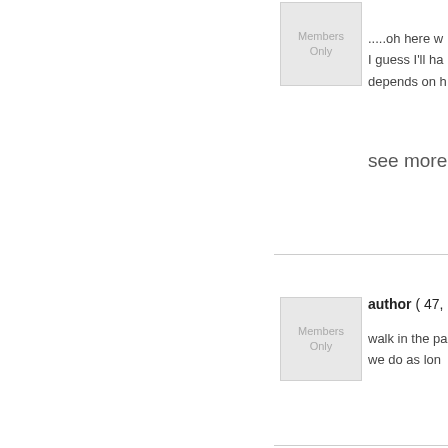[Figure (other): Members Only avatar placeholder box, top post]
.....oh here w
I guess I'll ha
depends on h
see more >
[Figure (other): Members Only avatar placeholder box, second post]
author ( 47,
walk in the pa
we do as lon
[Figure (other): Members Only avatar placeholder box, third post]
author ( 43,
Listen to a ba
maybe a drin
[Figure (other): Members Only avatar placeholder box, fourth post]
author ( 41,
Somewhere f
really picky I'l